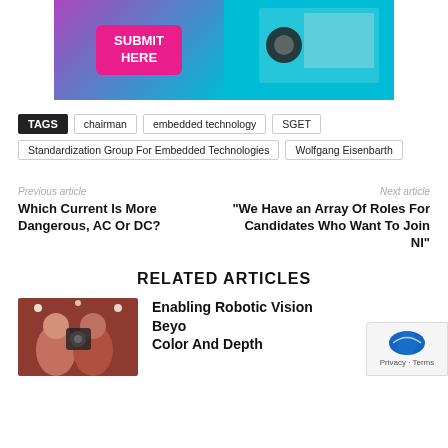[Figure (illustration): Banner image with 'SUBMIT HERE' button on left side with purple/teal gradient, and electronics breadboard on right side with teal background]
TAGS  chairman  embedded technology  SGET  Standardization Group For Embedded Technologies  Wolfgang Eisenbarth
Previous article
Which Current Is More Dangerous, AC Or DC?
Next article
"We Have an Array Of Roles For Candidates Who Want To Join NI"
RELATED ARTICLES
[Figure (photo): Two people with a robotic/camera device, dark red/brick background]
Enabling Robotic Vision Beyond Color And Depth